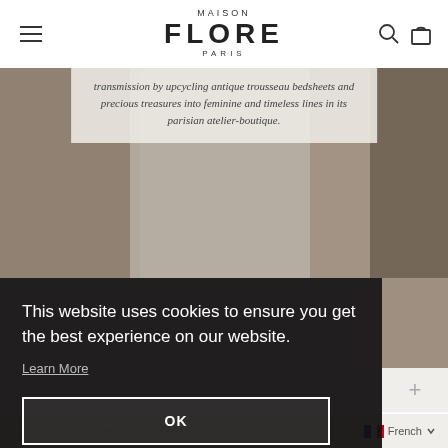MAISON FLORE PARIS
[Figure (photo): Hero image showing antique fabric/textile details with a semi-transparent overlay text box]
transmission by upcycling antique trousseau bedsheets and precious treasures into feminine and timeless lines in its parisian atelier-boutique.
This website uses cookies to ensure you get the best experience on our website.
Learn More
OK
THE MYOSOTIS SHORTS SIZING
French